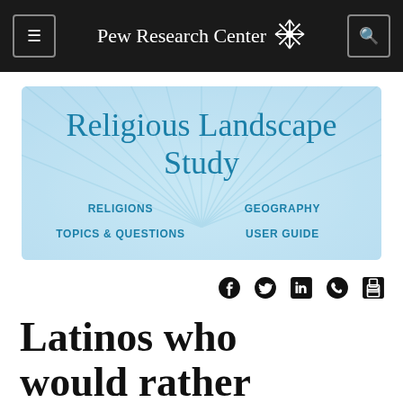Pew Research Center
[Figure (screenshot): Religious Landscape Study promotional box with links: RELIGIONS, GEOGRAPHY, TOPICS & QUESTIONS, USER GUIDE]
Social share icons: Facebook, Twitter, LinkedIn, WhatsApp, Print
Latinos who would rather